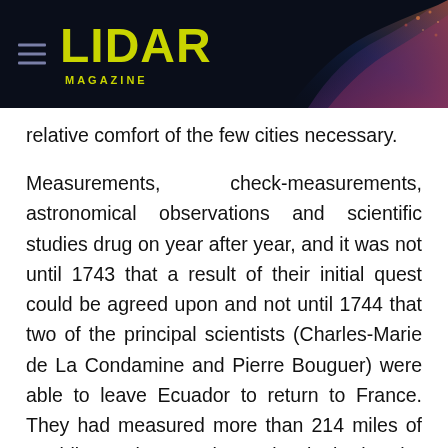LIDAR MAGAZINE
relative comfort of the few cities necessary.
Measurements, check-measurements, astronomical observations and scientific studies drug on year after year, and it was not until 1743 that a result of their initial quest could be agreed upon and not until 1744 that two of the principal scientists (Charles-Marie de La Condamine and Pierre Bouguer) were able to leave Ecuador to return to France. They had measured more than 214 miles of meridian and proven beyond a doubt that the earth bulged at the equator. The ever-inquisitive La Condamine, chronicler of the expedition, used the occasion to map the Amazon